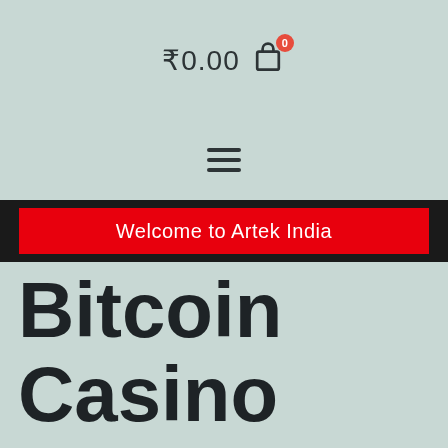₹0.00 [cart icon with badge 0]
[Figure (other): Hamburger menu icon (three horizontal lines)]
Welcome to Artek India
Bitcoin Casino Usa No Deposit Bonus